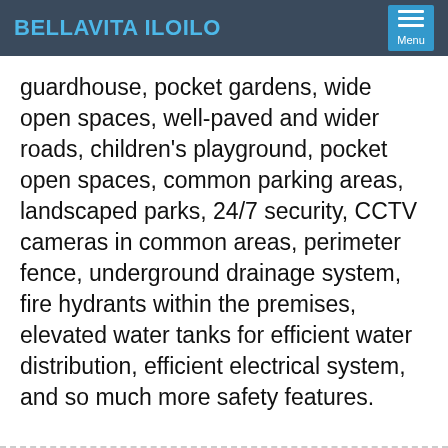BELLAVITA ILOILO Menu
guardhouse, pocket gardens, wide open spaces, well-paved and wider roads, children's playground, pocket open spaces, common parking areas, landscaped parks, 24/7 security, CCTV cameras in common areas, perimeter fence, underground drainage system, fire hydrants within the premises, elevated water tanks for efficient water distribution, efficient electrical system, and so much more safety features.